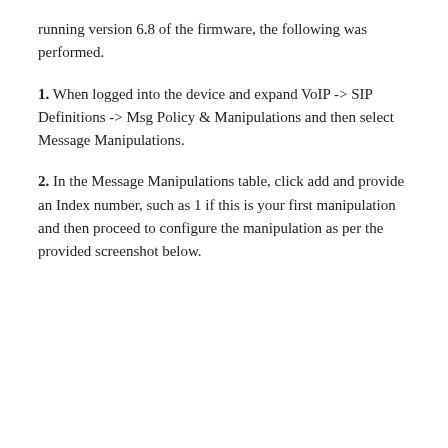running version 6.8 of the firmware, the following was performed.
1. When logged into the device and expand VoIP -> SIP Definitions -> Msg Policy & Manipulations and then select Message Manipulations.
2. In the Message Manipulations table, click add and provide an Index number, such as 1 if this is your first manipulation and then proceed to configure the manipulation as per the provided screenshot below.